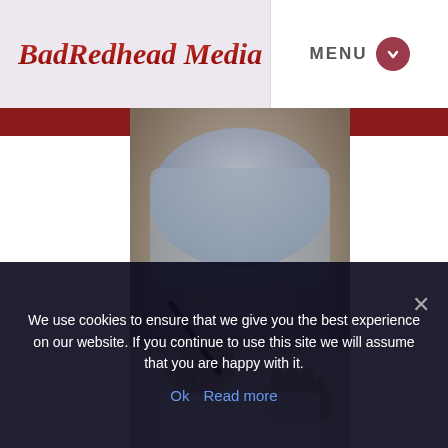BadRedhead Media
MENU
[Figure (photo): Close-up photo of a person's hands writing on paper with a pen, wearing a light blue shirt. The image is slightly blurred/bokeh style.]
We use cookies to ensure that we give you the best experience on our website. If you continue to use this site we will assume that you are happy with it.
Ok   Read more